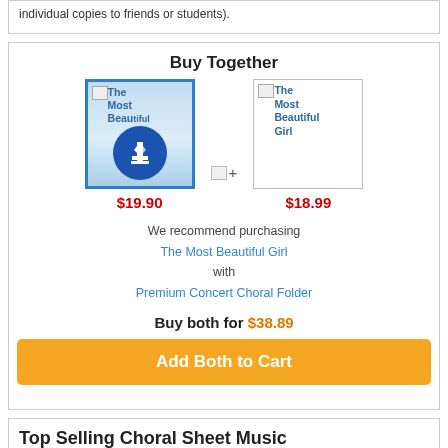individual copies to friends or students).
Buy Together
[Figure (illustration): Product image with blue border and download icon showing a music note, labeled 'The Most Beautiful iful' with price $19.90]
[Figure (illustration): Product image with gray border labeled 'The Most Beautiful Girl' with price $18.99]
We recommend purchasing The Most Beautiful Girl with Premium Concert Choral Folder
Buy both for $38.89
Add Both to Cart
Top Selling Choral Sheet Music
Come, Emmanuel
A Manger So Far from
Barbara Ann